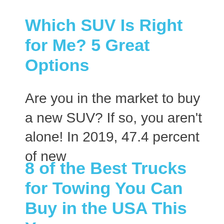Which SUV Is Right for Me? 5 Great Options
Are you in the market to buy a new SUV? If so, you aren't alone! In 2019, 47.4 percent of new
8 of the Best Trucks for Towing You Can Buy in the USA This Year